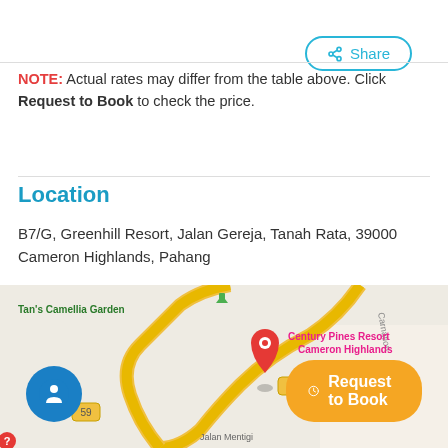Share
NOTE: Actual rates may differ from the table above. Click Request to Book to check the price.
Location
B7/G, Greenhill Resort, Jalan Gereja, Tanah Rata, 39000 Cameron Highlands, Pahang
[Figure (map): Google Maps screenshot showing Tanah Rata area in Cameron Highlands, Pahang, Malaysia. Visible labels include Tan's Camellia Garden, Century Pines Resort Cameron Highlands, Tanah Rata, Jalan Mentigi, road 59. A red location pin marks the property at Greenhill Resort.]
Request to Book